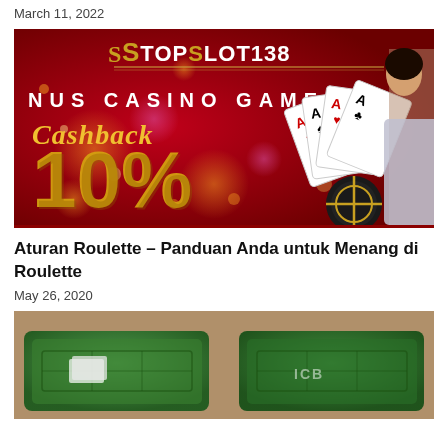March 11, 2022
[Figure (photo): TopSlot138 casino banner with red background, gold text showing 'BONUS CASINO GAMES Cashback 10%', playing cards (aces), a casino chip, and a woman in a silver dress]
Aturan Roulette – Panduan Anda untuk Menang di Roulette
May 26, 2020
[Figure (photo): Photo of green casino roulette/card tables from above]